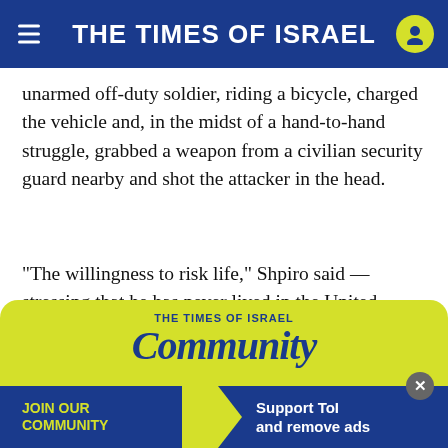THE TIMES OF ISRAEL
unarmed off-duty soldier, riding a bicycle, charged the vehicle and, in the midst of a hand-to-hand struggle, grabbed a weapon from a civilian security guard nearby and shot the attacker in the head.
“The willingness to risk life,” Shpiro said — stressing that he has never lived in the United States and cannot speak to the norms there — “is rooted in an Israeli culture of involvement, and a deep societal commitment to saving lives.”
[Figure (infographic): The Times of Israel Community promotional banner with yellow-green background. Shows 'THE TIMES OF ISRAEL' in blue text, 'Community' in large italic blue text, a blue bottom bar with 'JOIN OUR COMMUNITY' in yellow on the left, an arrow shape in yellow-green, and 'Support ToI and remove ads' in white on the right. A close button (X) appears in the top-right area of the bottom bar.]